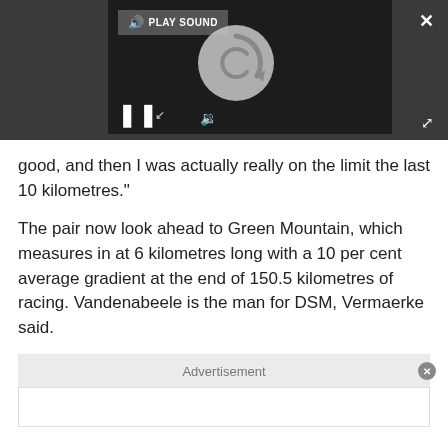[Figure (screenshot): Media player UI with dark background, play sound button, loading spinner circle, pause button, volume icon, close button, and expand icon]
good, and then I was actually really on the limit the last 10 kilometres."
The pair now look ahead to Green Mountain, which measures in at 6 kilometres long with a 10 per cent average gradient at the end of 150.5 kilometres of racing. Vandenabeele is the man for DSM, Vermaerke said.
Advertisement